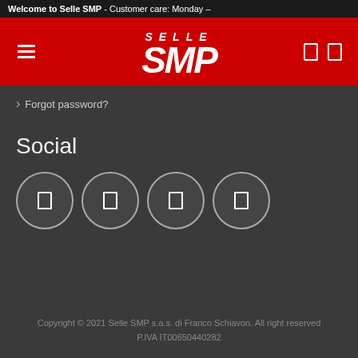Welcome to Selle SMP - Customer care: Monday –
[Figure (logo): Selle SMP logo — white italic SELLE text above stylized SMP lettering, on red background header bar]
Forgot password?
Social
[Figure (infographic): Four circular social media icon buttons with dark fill and white border, arranged horizontally]
Copyright © 2021 Selle SMP s.a.s. di Franco Schiavon. All right reserved
P.IVA IT00650440282